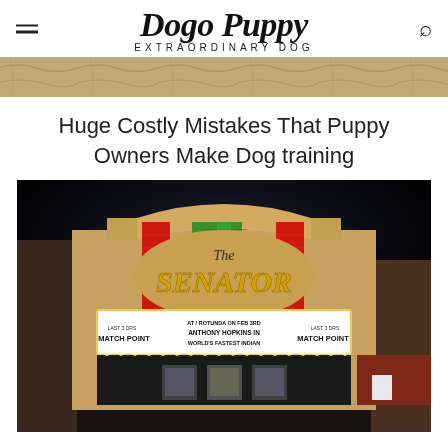Dogo Puppy EXTRAORDINARY DOG
[Figure (photo): Partial top image showing a texture/background, likely cropped top of a dog-related photo]
Huge Costly Mistakes That Puppy Owners Make Dog training
[Figure (photo): Night photo of The Senator theater with illuminated marquee reading 'MATCH POINT / ANTHONY HOPKINS IN / WORLD'S FASTEST INDIAN' with colorful lit facade in red and green]